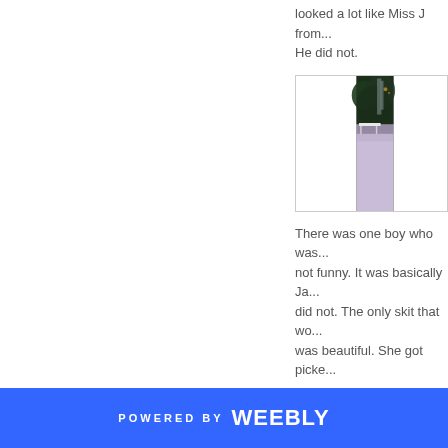looked a lot like Miss J from... He did not.
[Figure (photo): Blurry outdoor photo showing dark green trees/bushes and a white table or bench with a light purple/lavender ground surface]
There was one boy who was... not funny. It was basically Ja... did not. The only skit that wo... was beautiful. She got picke...
POWERED BY weebly